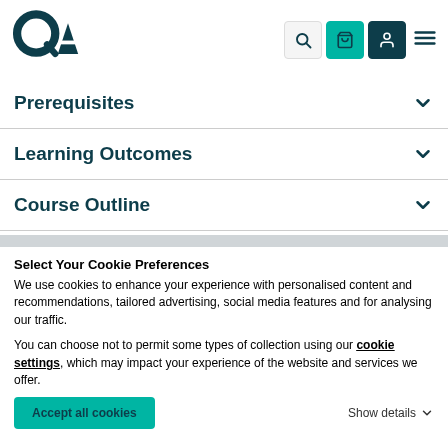[Figure (logo): QA logo — circular Q with arrow/A letters in dark teal]
Prerequisites
Learning Outcomes
Course Outline
Select Your Cookie Preferences
We use cookies to enhance your experience with personalised content and recommendations, tailored advertising, social media features and for analysing our traffic.
You can choose not to permit some types of collection using our cookie settings, which may impact your experience of the website and services we offer.
Accept all cookies
Show details